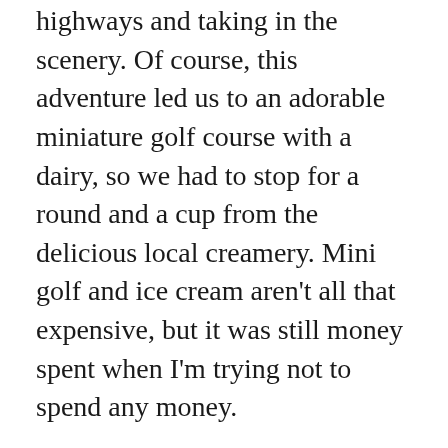highways and taking in the scenery. Of course, this adventure led us to an adorable miniature golf course with a dairy, so we had to stop for a round and a cup from the delicious local creamery. Mini golf and ice cream aren't all that expensive, but it was still money spent when I'm trying not to spend any money.
Bar Hopping Lancaster
Our most expensive day in September was a night out on the town in Lancaster. We went to a few local breweries, sampled beer, ciders, and meads, and ate many delicious foods. The best part was the meadery, where they let us throw axes!